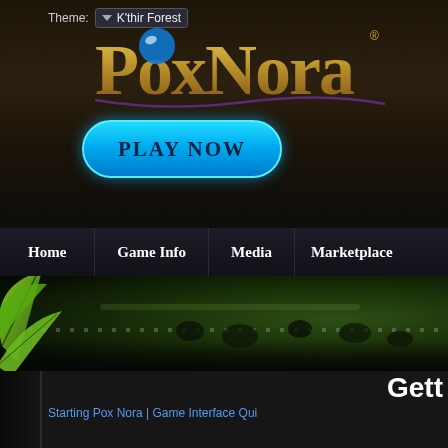[Figure (screenshot): PoxNora game website screenshot showing the header with logo, Play Now button, navigation bar with Home/Game Info/Media/Marketplace, forest-themed banner, and beginning of Getting Started content section with PvP Meta and Winning article]
Theme: K'thir Forest
[Figure (logo): PoxNora logo with blue orb and gold fantasy lettering]
PLAY NOW
Home  Game Info  Media  Marketplace
Gett
Starting Pox Nora | Game Interface  Qui
PvP, Meta, and Winning
Player Versus Player
PvP is a big part of Pox Nora. Players from around the world participate in ranked games it will influence the Drums of War